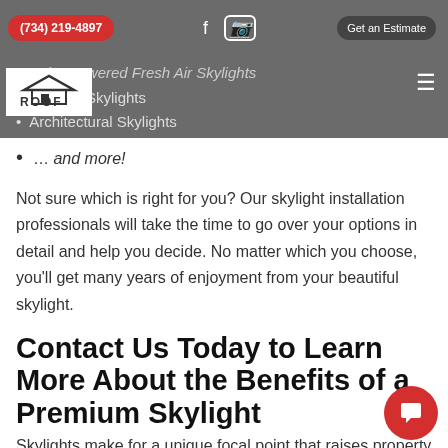(734) 219-4897 | Get an Estimate
Solar Powered Fresh Air Skylights (partial, grayed)
ElkRoof Skylights
Architectural Skylights
… and more!
Not sure which is right for you? Our skylight installation professionals will take the time to go over your options in detail and help you decide. No matter which you choose, you'll get many years of enjoyment from your beautiful skylight.
Contact Us Today to Learn More About the Benefits of a Premium Skylight
Skylights make for a unique focal point that raises property value, lowers utility bills, improves air quality, and reduces stress on your HVAC system. Contact Roof Advance today to